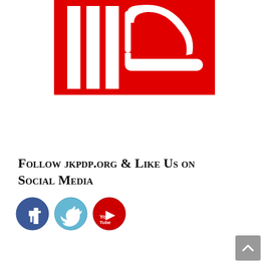[Figure (logo): JKPDP party logo: red square background with white vertical bars on the left and a white stylized pen/quill symbol with a horizontal bar on the right]
Follow jkpdp.org & Like Us on Social Media
[Figure (infographic): Three social media icons: Facebook (blue circle with white f), Twitter (light blue circle with white bird), YouTube (red circle with white play button and 'You Tube' text)]
[Figure (other): Gray scroll-to-top button with upward chevron arrow in bottom right corner]